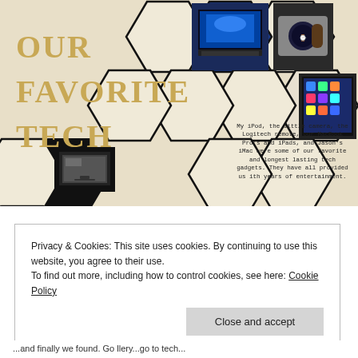[Figure (infographic): Honeycomb hexagon grid infographic with tech device photos (laptop, iPad, smartwatch, iMac) and large golden text 'OUR FAVORITE TECH']
OUR FAVORITE TECH
My iPod, the little camera, the Logitech remote, our MacBook Pro's and iPads, and Jason's iMac were some of our favorite and longest lasting tech gadgets. They have all provided us ith years of entertainment.
Privacy & Cookies: This site uses cookies. By continuing to use this website, you agree to their use.
To find out more, including how to control cookies, see here: Cookie Policy
Close and accept
...and finally we found. Go llery...go to tech...